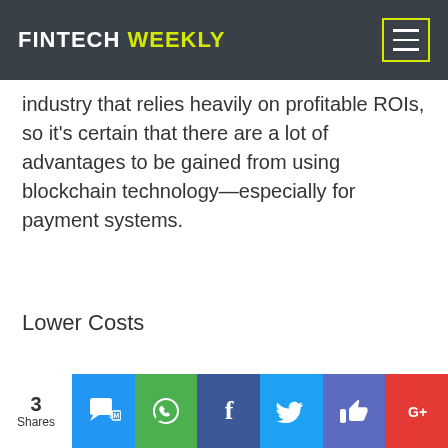FINTECH WEEKLY
industry that relies heavily on profitable ROIs, so it's certain that there are a lot of advantages to be gained from using blockchain technology—especially for payment systems.
Lower Costs
[Figure (other): Social share bar with SMS, WhatsApp, Facebook, Twitter, Like, and Google+ buttons. Shows 3 Shares.]